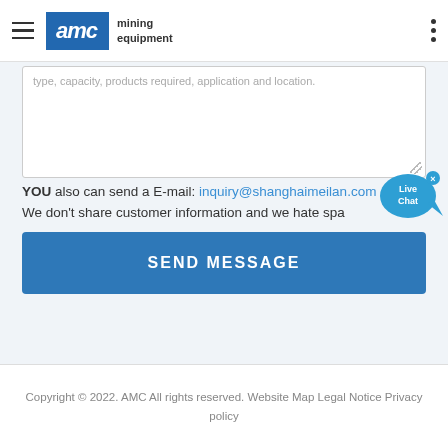[Figure (logo): AMC Mining Equipment logo with hamburger menu and dots menu]
type, capacity, products required, application and location.
YOU also can send a E-mail: inquiry@shanghaimeilan.com
We don't share customer information and we hate spa
SEND MESSAGE
Copyright © 2022. AMC All rights reserved. Website Map Legal Notice Privacy policy